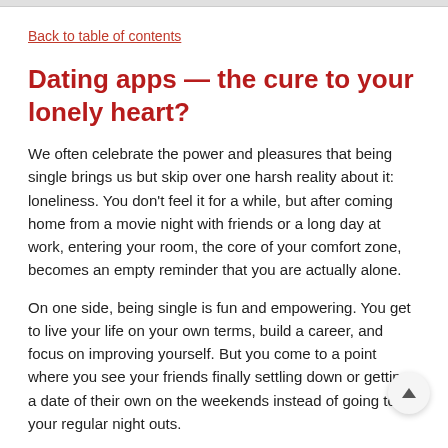Back to table of contents
Dating apps — the cure to your lonely heart?
We often celebrate the power and pleasures that being single brings us but skip over one harsh reality about it: loneliness. You don't feel it for a while, but after coming home from a movie night with friends or a long day at work, entering your room, the core of your comfort zone, becomes an empty reminder that you are actually alone.
On one side, being single is fun and empowering. You get to live your life on your own terms, build a career, and focus on improving yourself. But you come to a point where you see your friends finally settling down or getting a date of their own on the weekends instead of going to your regular night outs.